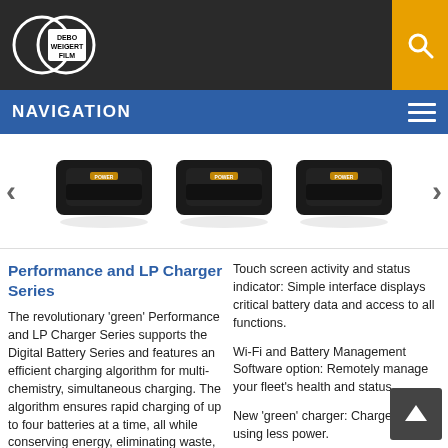DEBO WEIGERT FILM
NAVIGATION
[Figure (photo): Product carousel showing three black battery charger units on white background with left and right navigation arrows]
Performance and LP Charger Series
The revolutionary 'green' Performance and LP Charger Series supports the Digital Battery Series and features an efficient charging algorithm for multi-chemistry, simultaneous charging. The algorithm ensures rapid charging of up to four batteries at a time, all while conserving energy, eliminating waste, and reducing total cost of ownership. The Performance and LP Charger series is nearly 40%
Touch screen activity and status indicator: Simple interface displays critical battery data and access to all functions.
Wi-Fi and Battery Management Software option: Remotely manage your fleet's health and status.
New 'green' charger: Charges faster using less power.
Charging algorithm is 40% more efficient than traditional chargers.
Multi-chemistry charging